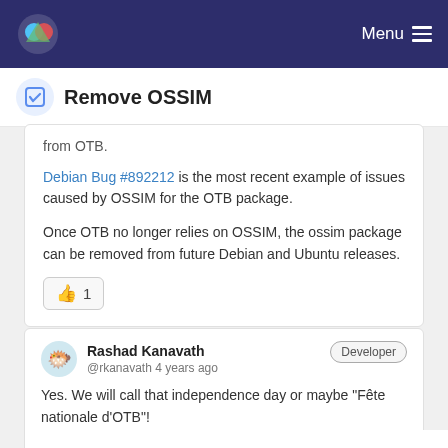Menu
Remove OSSIM
from OTB.
Debian Bug #892212 is the most recent example of issues caused by OSSIM for the OTB package.
Once OTB no longer relies on OSSIM, the ossim package can be removed from future Debian and Ubuntu releases.
👍 1
Rashad Kanavath @rkanavath 4 years ago Developer Yes. We will call that independence day or maybe "Fête nationale d'OTB"!